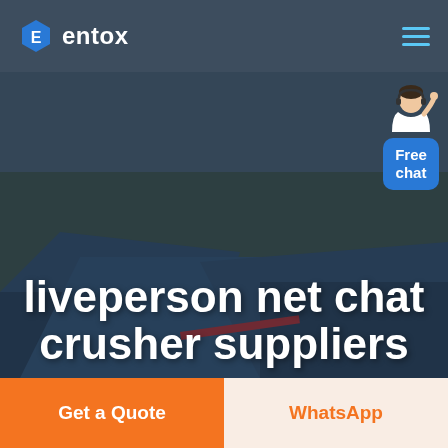entox
[Figure (photo): Aerial view of an industrial factory complex with large blue warehouse rooftops, overlaid with a dark semi-transparent tint. A customer service representative illustration appears in the top-right with a 'Free chat' blue button.]
liveperson net chat crusher suppliers
Get a Quote
WhatsApp